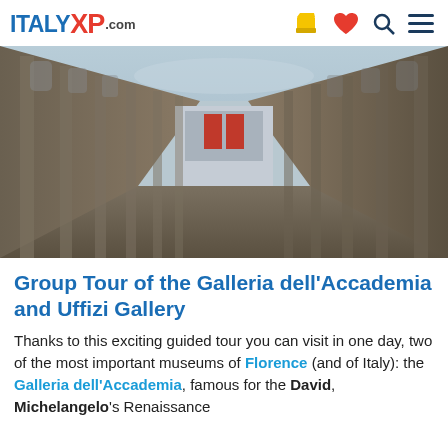ITALY XP .com [cart] [heart] [search] [menu]
[Figure (photo): Wide-angle perspective photo of the Uffizi Gallery courtyard in Florence, showing the long corridor between two wings of the Renaissance building with columns and arched windows, red banners, and a view of the city beyond.]
Group Tour of the Galleria dell'Accademia and Uffizi Gallery
Thanks to this exciting guided tour you can visit in one day, two of the most important museums of Florence (and of Italy): the Galleria dell'Accademia, famous for the David, Michelangelo's Renaissance